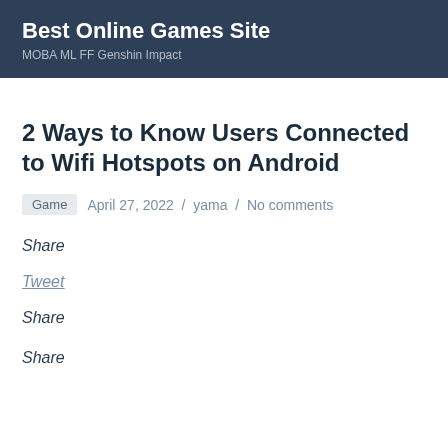Best Online Games Site
MOBA ML FF Genshin Impact
2 Ways to Know Users Connected to Wifi Hotspots on Android
Game   April 27, 2022 / yama / No comments
Share
Tweet
Share
Share